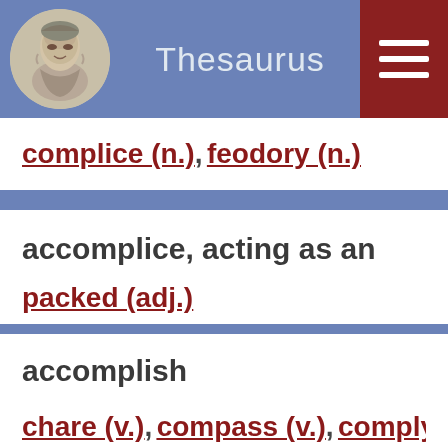Thesaurus
complice (n.),  feodory (n.)
accomplice, acting as an
packed (adj.)
accomplish
chare (v.),  compass (v.),  comply (v.),  consummate (v.),  effect (v.),  enact (v.),  overtake (v.),  rid (v.),  seal (v.),  touch